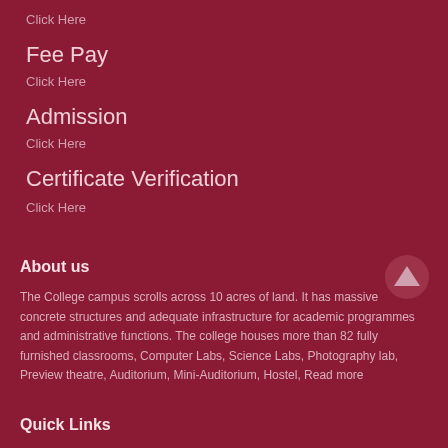Click Here
Fee Pay
Click Here
Admission
Click Here
Certificate Verification
Click Here
About us
The College campus scrolls across 10 acres of land. It has massive concrete structures and adequate infrastructure for academic programmes and administrative functions. The college houses more than 82 fully furnished classrooms, Computer Labs, Science Labs, Photography lab, Preview theatre, Auditorium, Mini-Auditorium, Hostel, Read more
Quick Links